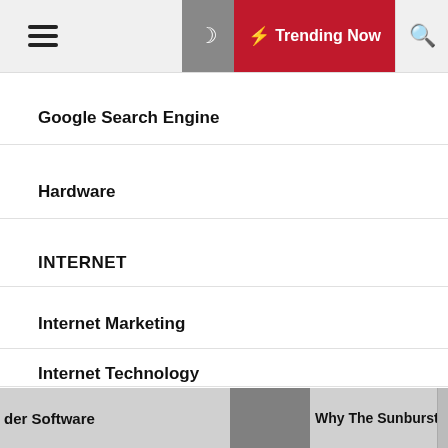Navigation bar with hamburger menu, moon icon, Trending Now, and search icon
Google Search Engine
Hardware
INTERNET
Internet Marketing
Internet Technology
LAPTOPS
MOBILE AND COMPUTING
der Software   Why The Sunburst Hack Is So Severe